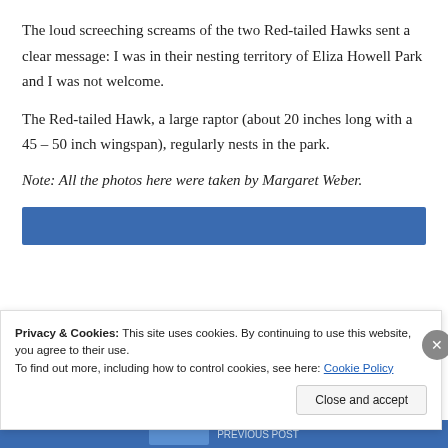The loud screeching screams of the two Red-tailed Hawks sent a clear message: I was in their nesting territory of Eliza Howell Park and I was not welcome.
The Red-tailed Hawk, a large raptor (about 20 inches long with a 45 – 50 inch wingspan), regularly nests in the park.
Note: All the photos here were taken by Margaret Weber.
[Figure (other): Blue image/banner bar partially visible]
Privacy & Cookies: This site uses cookies. By continuing to use this website, you agree to their use.
To find out more, including how to control cookies, see here: Cookie Policy